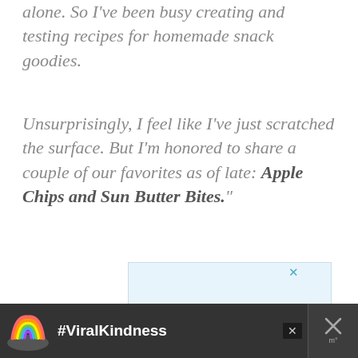alone. So I've been busy creating and testing recipes for homemade snack goodies.
Unsurprisingly, I feel like I've just scratched the surface. But I'm honored to share a couple of our favorites as of late: Apple Chips and Sun Butter Bites."
[Figure (screenshot): Advertisement banner with light blue background showing 'KINDNESS IS' in large cyan bold text, with an X close button in the top right corner]
[Figure (screenshot): Bottom advertisement bar with dark background showing a rainbow illustration and '#ViralKindness' text in white, with X close buttons]